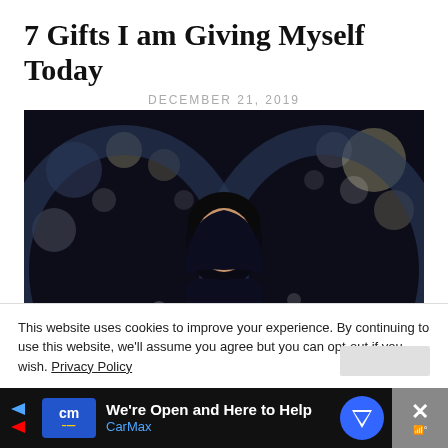7 Gifts I am Giving Myself Today
DECEMBER 21, 2019
[Figure (photo): Young woman smiling, wearing a dark hoodie with a glowing heart shape on the front, surrounded by bokeh lights in a dark background]
This website uses cookies to improve your experience. By continuing to use this website, we'll assume you agree but you can opt-out if you wish. Privacy Policy
We're Open and Here to Help
CarMax